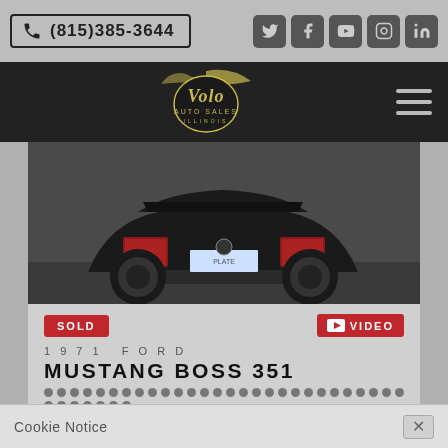(815)385-3644
[Figure (logo): Volo Auto Sales Illinois logo in gold script on dark nav bar]
[Figure (photo): Rear view of a black 1971 Ford Mustang Boss 351 on display floor]
SOLD
VIDEO
1971 FORD
MUSTANG BOSS 351
39,051 MILES, #S MATCH, 996/1000 POINTS!
ENGINE: 351-401 HP
TRANSMISSION: 4 Speed
STOCK #: V18768
Cookie Notice